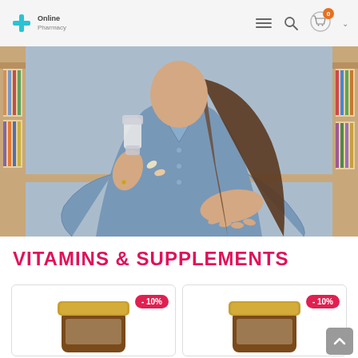Online Pharmacy — Logo, navigation menu, search, cart (0)
[Figure (photo): Woman in blue denim shirt pouring supplement capsules from a small bottle into her palm, bookshelves visible in background]
VITAMINS & SUPPLEMENTS
[Figure (photo): Amber supplement jar with gold lid, discount badge showing -10%]
[Figure (photo): Amber supplement jar with gold lid, discount badge showing -10%]